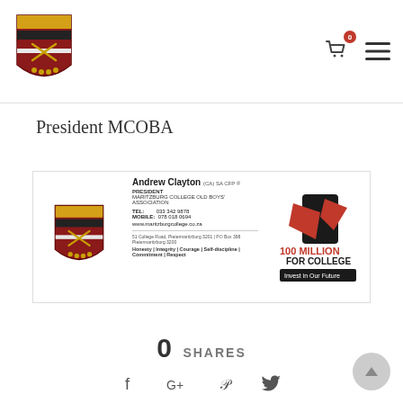OC shield logo, cart icon with badge 0, hamburger menu
President MCOBA
[Figure (other): Business card of Andrew Clayton (CA) SA CFP*, President, Maritzburg College Old Boys' Association. Tel: 033 342 9878, Mobile: 078 018 0694, www.maritzburgcollege.co.za. 51 College Road, Pietermaritzburg 3201 | PO Box 398 Pietermaritzburg 3200. Values: Honesty | Integrity | Courage | Self-discipline | Commitment | Respect. 100 Million For College – Invest in Our Future logo on right.]
0 SHARES
[Figure (other): Social share icons: Facebook, Google+, Pinterest, Twitter]